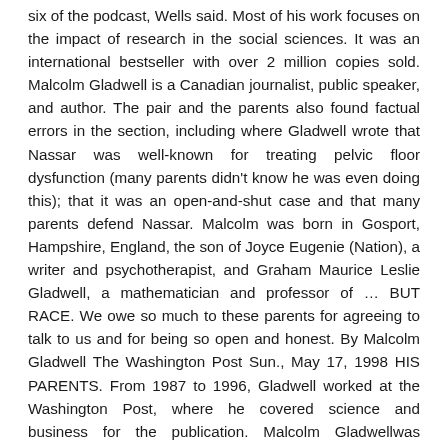six of the podcast, Wells said. Most of his work focuses on the impact of research in the social sciences. It was an international bestseller with over 2 million copies sold. Malcolm Gladwell is a Canadian journalist, public speaker, and author. The pair and the parents also found factual errors in the section, including where Gladwell wrote that Nassar was well-known for treating pelvic floor dysfunction (many parents didn't know he was even doing this); that it was an open-and-shut case and that many parents defend Nassar. Malcolm was born in Gosport, Hampshire, England, the son of Joyce Eugenie (Nation), a writer and psychotherapist, and Graham Maurice Leslie Gladwell, a mathematician and professor of ... BUT RACE. We owe so much to these parents for agreeing to talk to us and for being so open and honest. By Malcolm Gladwell The Washington Post Sun., May 17, 1998 HIS PARENTS. From 1987 to 1996, Gladwell worked at the Washington Post, where he covered science and business for the publication. Malcolm Gladwellwas academically oriented from childhood. It was our impression that the cuts would be used in a supportive manner as the material was originally presented in our podcast.". The section of the book talks